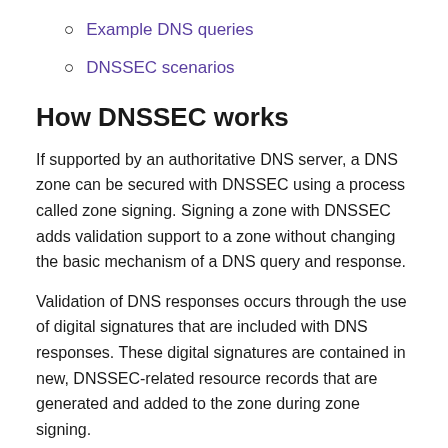Example DNS queries
DNSSEC scenarios
How DNSSEC works
If supported by an authoritative DNS server, a DNS zone can be secured with DNSSEC using a process called zone signing. Signing a zone with DNSSEC adds validation support to a zone without changing the basic mechanism of a DNS query and response.
Validation of DNS responses occurs through the use of digital signatures that are included with DNS responses. These digital signatures are contained in new, DNSSEC-related resource records that are generated and added to the zone during zone signing.
The following figure shows DNS resource records in the